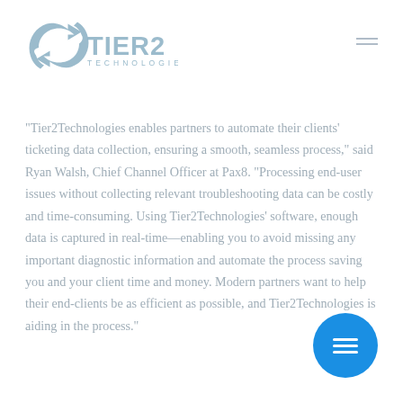[Figure (logo): Tier2 Technologies logo with arrow/recycling icon in light blue/gray]
"Tier2Technologies enables partners to automate their clients' ticketing data collection, ensuring a smooth, seamless process," said Ryan Walsh, Chief Channel Officer at Pax8. "Processing end-user issues without collecting relevant troubleshooting data can be costly and time-consuming. Using Tier2Technologies' software, enough data is captured in real-time—enabling you to avoid missing any important diagnostic information and automate the process saving you and your client time and money. Modern partners want to help their end-clients be as efficient as possible, and Tier2Technologies is aiding in the process."